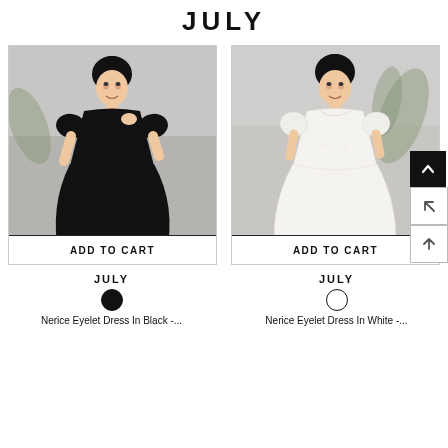JULY
[Figure (photo): Woman wearing a black eyelet short-sleeve dress with puff sleeves, posed against a grey background. ADD TO CART button overlay at bottom.]
[Figure (photo): Woman wearing a white eyelet short-sleeve dress with puff sleeves, posed against a grey background. ADD TO CART button overlay at bottom.]
JULY
JULY
Nerice Eyelet Dress In Black -...
Nerice Eyelet Dress In White -...